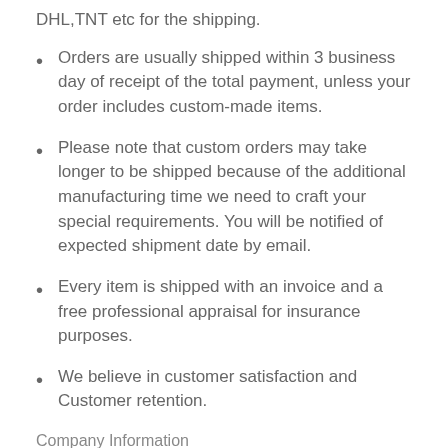DHL,TNT etc for the shipping.
Orders are usually shipped within 3 business day of receipt of the total payment, unless your order includes custom-made items.
Please note that custom orders may take longer to be shipped because of the additional manufacturing time we need to craft your special requirements. You will be notified of expected shipment date by email.
Every item is shipped with an invoice and a free professional appraisal for insurance purposes.
We believe in customer satisfaction and Customer retention.
Company Information
THE ABOUT – AGATE BUDDY METAPHYSICAL